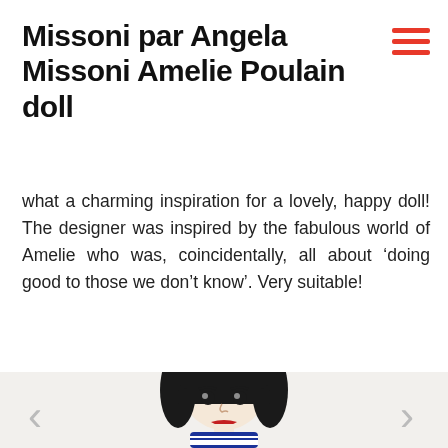Missoni par Angela Missoni Amelie Poulain doll
what a charming inspiration for a lovely, happy doll! The designer was inspired by the fabulous world of Amelie who was, coincidentally, all about ‘doing good to those we don’t know’. Very suitable!
[Figure (photo): A fabric doll styled after the character Amelie Poulain, with black bobbed hair, red lips, and a navy blue and white striped outfit. The doll is centered on a light beige background. Navigation arrows appear on both sides.]